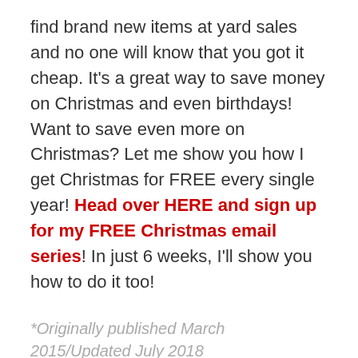find brand new items at yard sales and no one will know that you got it cheap. It's a great way to save money on Christmas and even birthdays! Want to save even more on Christmas? Let me show you how I get Christmas for FREE every single year! Head over HERE and sign up for my FREE Christmas email series! In just 6 weeks, I'll show you how to do it too!
*Originally published March 2015/Updated July 2018